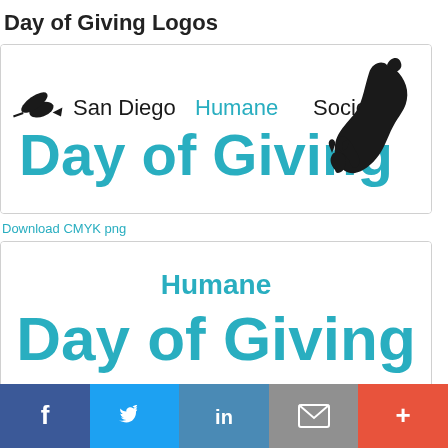Day of Giving Logos
[Figure (logo): San Diego Humane Society Day of Giving logo with teal text and animal silhouettes (horse, cat, dog)]
Download CMYK png
[Figure (logo): Humane Day of Giving logo with teal text on white background]
Download Reverse CMYK png
[Figure (infographic): Social sharing bar with Facebook, Twitter, LinkedIn, Email, and More buttons]